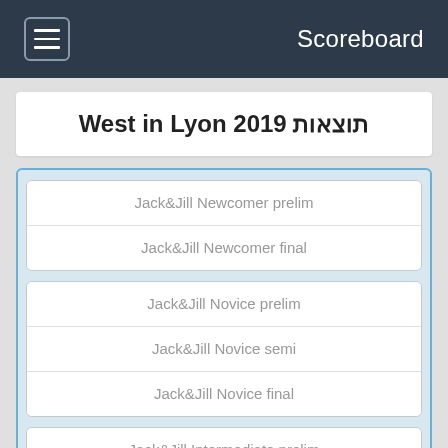Scoreboard
תוצאות West in Lyon 2019
Jack&Jill Newcomer prelim
Jack&Jill Newcomer final
Jack&Jill Novice prelim
Jack&Jill Novice semi
Jack&Jill Novice final
Jack&Jill Intermediate prelim
Jack&Jill Intermediate final
Jack&Jill Advanced prelim